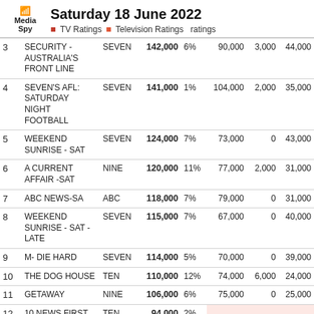Saturday 18 June 2022 — TV Ratings | Television Ratings | ratings
| # | Show | Channel | Viewers | % | V2 | V3 | V4 |
| --- | --- | --- | --- | --- | --- | --- | --- |
| 3 | SECURITY - AUSTRALIA'S FRONT LINE | SEVEN | 142,000 | 6% | 90,000 | 3,000 | 44,000 |
| 4 | SEVEN'S AFL: SATURDAY NIGHT FOOTBALL | SEVEN | 141,000 | 1% | 104,000 | 2,000 | 35,000 |
| 5 | WEEKEND SUNRISE - SAT | SEVEN | 124,000 | 7% | 73,000 | 0 | 43,000 |
| 6 | A CURRENT AFFAIR -SAT | NINE | 120,000 | 11% | 77,000 | 2,000 | 31,000 |
| 7 | ABC NEWS-SA | ABC | 118,000 | 7% | 79,000 | 0 | 31,000 |
| 8 | WEEKEND SUNRISE - SAT - LATE | SEVEN | 115,000 | 7% | 67,000 | 0 | 40,000 |
| 9 | M- DIE HARD | SEVEN | 114,000 | 5% | 70,000 | 0 | 39,000 |
| 10 | THE DOG HOUSE | TEN | 110,000 | 12% | 74,000 | 6,000 | 24,000 |
| 11 | GETAWAY | NINE | 106,000 | 6% | 75,000 | 0 | 25,000 |
| 12 | 10 NEWS FIRST SAT | TEN | 94,000 | 2% |  |  |  |
| 13 | THE DOG HOUSE | TEN | 94,000 | 2% |  |  |  |